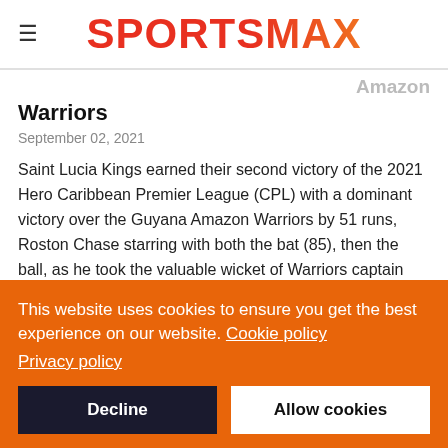SPORTSMAX
Warriors
September 02, 2021
Saint Lucia Kings earned their second victory of the 2021 Hero Caribbean Premier League (CPL) with a dominant victory over the Guyana Amazon Warriors by 51 runs, Roston Chase starring with both the bat (85), then the ball, as he took the valuable wicket of Warriors captain Nicholas Pooran.
This website uses cookies to ensure you get the best experience on our website. Cookie policy Privacy policy
Decline
Allow cookies